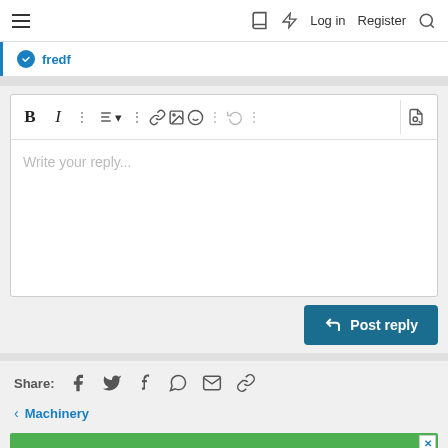≡  Log in  Register
fredf
[Figure (screenshot): Reply editor text area with toolbar icons: Bold, Italic, more options, list, more options, link, image, emoji, more options, undo, more options, preview. Text area placeholder: Write your reply...]
Post reply
Share:
< Machinery